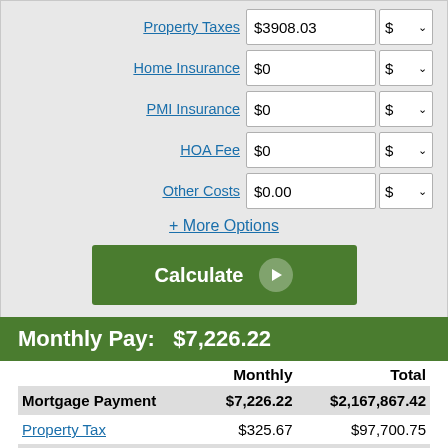|  | Value | Unit |
| --- | --- | --- |
| Property Taxes | $3908.03 | $ ▾ |
| Home Insurance | $0 | $ ▾ |
| PMI Insurance | $0 | $ ▾ |
| HOA Fee | $0 | $ ▾ |
| Other Costs | $0.00 | $ ▾ |
+ More Options
Calculate
Monthly Pay: $7,226.22
|  | Monthly | Total |
| --- | --- | --- |
| Mortgage Payment | $7,226.22 | $2,167,867.42 |
| Property Tax | $325.67 | $97,700.75 |
| Total Out of Pocket | $7,551.89 | $2,265,568.17 |